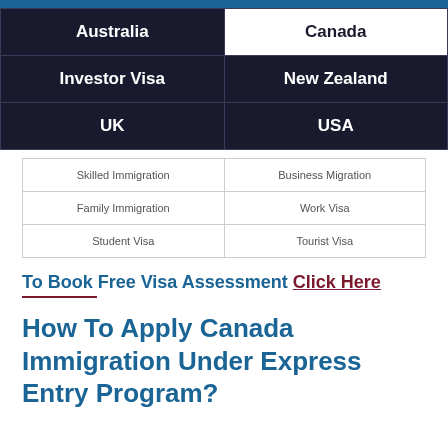| Australia | Canada |
| --- | --- |
| Investor Visa | New Zealand |
| UK | USA |
| Skilled Immigration | Business Migration |
| --- | --- |
| Family Immigration | Work Visa |
| Student Visa | Tourist Visa |
To Book Free Visa Assessment Click Here
How To Apply Canada Immigration Under Express Entry Program?